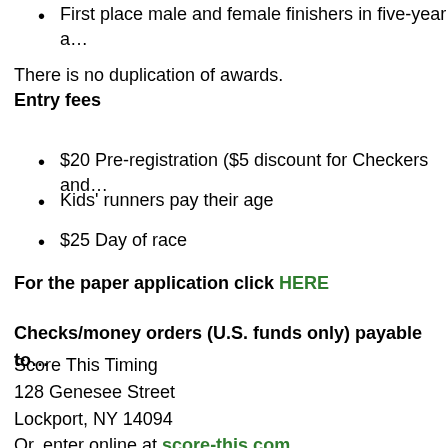First place male and female finishers in five-year a…
There is no duplication of awards.
Entry fees
$20 Pre-registration ($5 discount for Checkers and…
Kids' runners pay their age
$25 Day of race
For the paper application click HERE
Checks/money orders (U.S. funds only) payable to…
Score This Timing
128 Genesee Street
Lockport, NY 14094
Or, enter online at score-this.com
Pre-race packet pick-up and registration